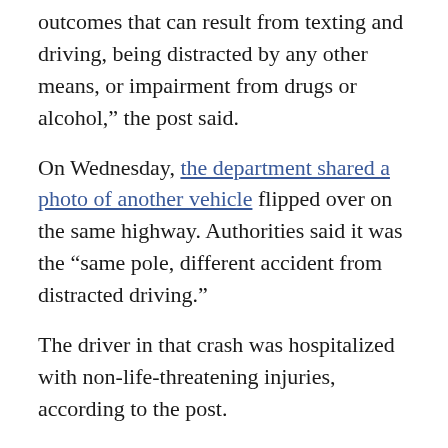outcomes that can result from texting and driving, being distracted by any other means, or impairment from drugs or alcohol,” the post said.
On Wednesday, the department shared a photo of another vehicle flipped over on the same highway. Authorities said it was the “same pole, different accident from distracted driving.”
The driver in that crash was hospitalized with non-life-threatening injuries, according to the post.
“The text, email, Facebook, Snapchat message can wait – it is not worth your life or the life of another person,” the department said.
This story was reported from Los Angeles.